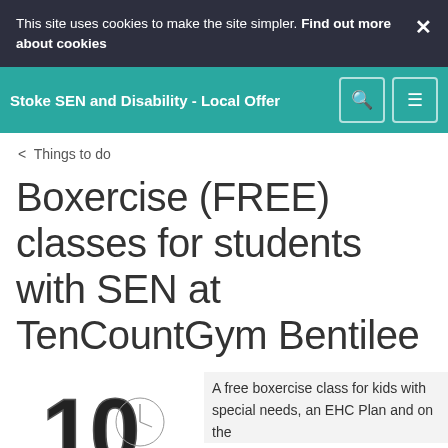This site uses cookies to make the site simpler. Find out more about cookies ×
Stoke SEN and Disability - Local Offer
< Things to do
Boxercise (FREE) classes for students with SEN at TenCountGym Bentilee
[Figure (logo): TenCount Gym logo showing the number 10]
A free boxercise class for kids with special needs, an EHC Plan and on the...